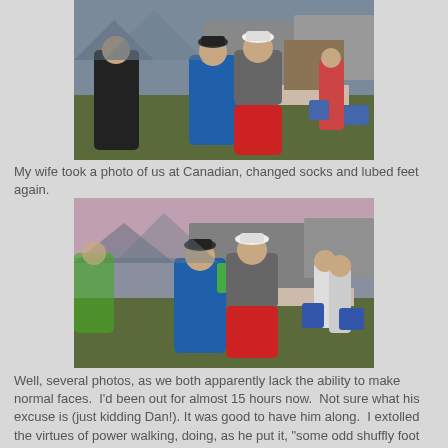[Figure (photo): Two runners posing together at a race aid station called Canadian, with other runners and canopy tents in the background. One wears a blue shirt and the other wears a gray shirt with red pants. Several other people visible in background.]
My wife took a photo of us at Canadian, changed socks and lubed feet again.
[Figure (photo): Same two runners posing again at the same aid station location, similar scene with canopy tents in background. One in blue shirt, one in gray with red pants.]
Well, several photos, as we both apparently lack the ability to make normal faces.  I'd been out for almost 15 hours now.  Not sure what his excuse is (just kidding Dan!). It was good to have him along.  I extolled the virtues of power walking, doing, as he put it, "some odd shuffly foot